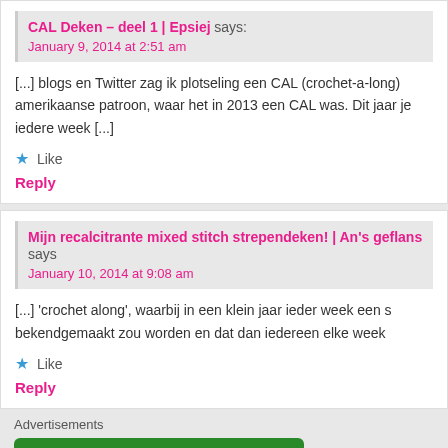CAL Deken – deel 1 | Epsiej says: January 9, 2014 at 2:51 am
[...] blogs en Twitter zag ik plotseling een CAL (crochet-a-long) amerikaanse patroon, waar het in 2013 een CAL was. Dit jaar je iedere week [...]
Like
Reply
Mijn recalcitrante mixed stitch strependeken! | An's geflans says: January 10, 2014 at 9:08 am
[...] 'crochet along', waarbij in een klein jaar ieder week een s bekendgemaakt zou worden en dat dan iedereen elke week
Like
Reply
Advertisements
[Figure (infographic): Jetpack advertisement banner with green background showing Jetpack logo and 'Back up your site' button]